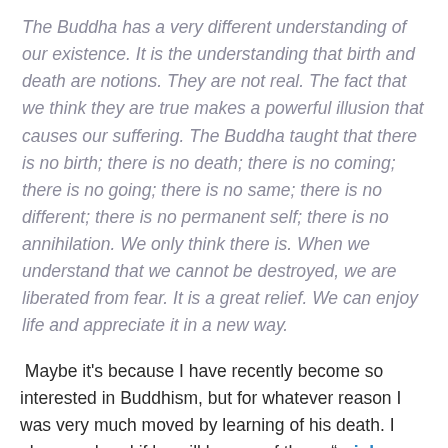The Buddha has a very different understanding of our existence. It is the understanding that birth and death are notions. They are not real. The fact that we think they are true makes a powerful illusion that causes our suffering. The Buddha taught that there is no birth; there is no death; there is no coming; there is no going; there is no same; there is no different; there is no permanent self; there is no annihilation. We only think there is. When we understand that we cannot be destroyed, we are liberated from fear. It is a great relief. We can enjoy life and appreciate it in a new way.
Maybe it's because I have recently become so interested in Buddhism, but for whatever reason I was very much moved by learning of his death. I also wondered if he will be one of those "rainbow bodies" that I have heard of. It's when the body of an enlightened being simply shrinks away and leaves behind only hair and nails. It's one of the reasons that monks' bodies are supposed to be allowed to remain undisturbed for at least three days after death. One